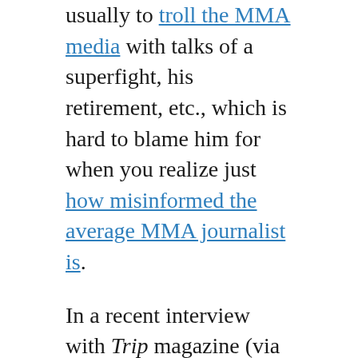usually to troll the MMA media with talks of a superfight, his retirement, etc., which is hard to blame him for when you realize just how misinformed the average MMA journalist is.
In a recent interview with Trip magazine (via Fightland), however, Silva spoke candidly about such topics as the racism he experienced growing up in Curitiba, homosexuality in MMA, and the wave of police brutality against minorities that has struck his native Brazil (among other places). While we've always know Anderson to be an incredibly intelligent man, the interview shed some major light on his